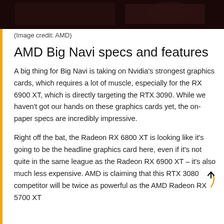[Figure (photo): Partial view of a dark-background product photo, likely a GPU/graphics card, cropped at top of page]
(Image credit: AMD)
AMD Big Navi specs and features
A big thing for Big Navi is taking on Nvidia's strongest graphics cards, which requires a lot of muscle, especially for the RX 6900 XT, which is directly targeting the RTX 3090. While we haven't got our hands on these graphics cards yet, the on-paper specs are incredibly impressive.
Right off the bat, the Radeon RX 6800 XT is looking like it's going to be the headline graphics card here, even if it's not quite in the same league as the Radeon RX 6900 XT – it's also much less expensive. AMD is claiming that this RTX 3080 competitor will be twice as powerful as the AMD Radeon RX 5700 XT